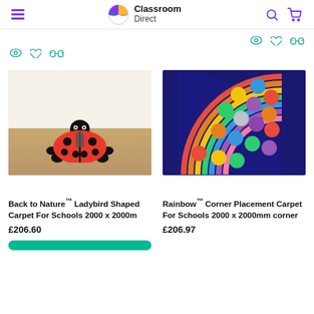Classroom Direct
[Figure (photo): Back to Nature Ladybird Shaped Carpet for Schools - a large ladybird-shaped black and red carpet with a child sitting on it in a classroom setting]
Back to Nature™ Ladybird Shaped Carpet For Schools 2000 x 2000m
£206.60
[Figure (photo): Rainbow Corner Placement Carpet for Schools - a quarter-circle shaped dark blue carpet with colorful circles and rainbow arc design]
Rainbow™ Corner Placement Carpet For Schools 2000 x 2000mm corner
£206.97